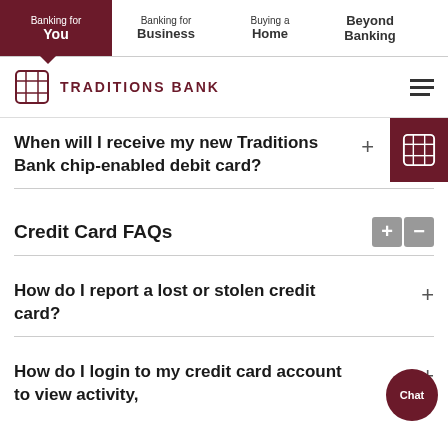Banking for You | Banking for Business | Buying a Home | Beyond Banking
[Figure (logo): Traditions Bank logo with cube icon and text TRADITIONS BANK]
When will I receive my new Traditions Bank chip-enabled debit card?
Credit Card FAQs
How do I report a lost or stolen credit card?
How do I login to my credit card account to view activity,